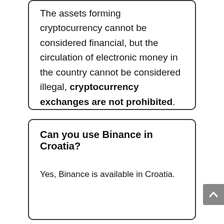The assets forming cryptocurrency cannot be considered financial, but the circulation of electronic money in the country cannot be considered illegal, cryptocurrency exchanges are not prohibited.
Can you use Binance in Croatia?
Yes, Binance is available in Croatia.